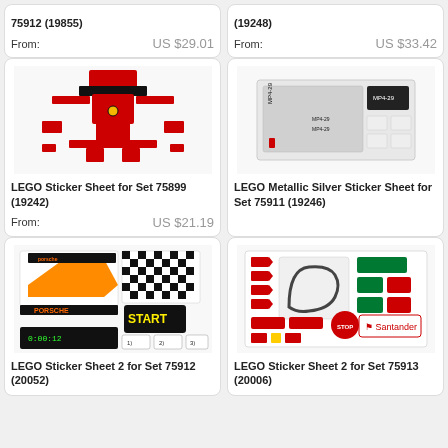75912 (19855)
From:
US $29.01
(19248)
From:
US $33.42
[Figure (photo): LEGO sticker sheet for Set 75899 showing red Ferrari F1 car stickers layout]
LEGO Sticker Sheet for Set 75899 (19242)
From:
US $21.19
[Figure (photo): LEGO Metallic Silver Sticker Sheet for Set 75911 showing MP4-29 stickers]
LEGO Metallic Silver Sticker Sheet for Set 75911 (19246)
[Figure (photo): LEGO Sticker Sheet 2 for Set 75912 showing Porsche race car and START/checkered flag stickers]
LEGO Sticker Sheet 2 for Set 75912 (20052)
[Figure (photo): LEGO Sticker Sheet 2 for Set 75913 showing Ferrari track and Santander stickers]
LEGO Sticker Sheet 2 for Set 75913 (20006)